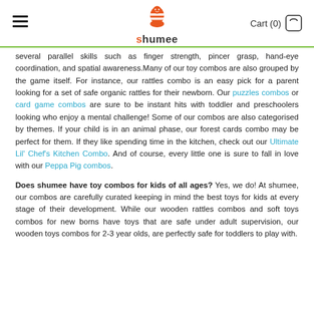shumee — Cart (0)
several parallel skills such as finger strength, pincer grasp, hand-eye coordination, and spatial awareness.Many of our toy combos are also grouped by the game itself. For instance, our rattles combo is an easy pick for a parent looking for a set of safe organic rattles for their newborn. Our puzzles combos or card game combos are sure to be instant hits with toddler and preschoolers looking who enjoy a mental challenge! Some of our combos are also categorised by themes. If your child is in an animal phase, our forest cards combo may be perfect for them. If they like spending time in the kitchen, check out our Ultimate Lil' Chef's Kitchen Combo. And of course, every little one is sure to fall in love with our Peppa Pig combos.
Does shumee have toy combos for kids of all ages? Yes, we do! At shumee, our combos are carefully curated keeping in mind the best toys for kids at every stage of their development. While our wooden rattles combos and soft toys combos for new borns have toys that are safe under adult supervision, our wooden toys combos for 2-3 year olds, are perfectly safe for toddlers to play with.